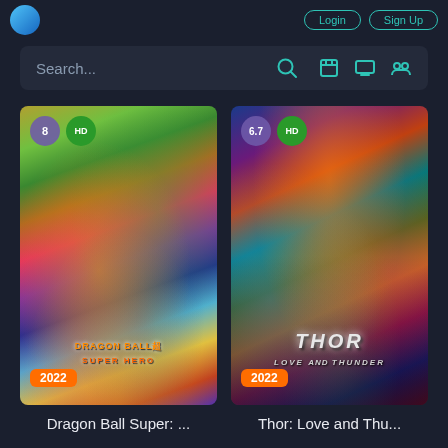[Figure (screenshot): App top bar with logo circle and navigation buttons]
Search...
[Figure (screenshot): Movie poster for Dragon Ball Super: Super Hero (2022), rated 8, HD badge]
2022
Dragon Ball Super: ...
[Figure (screenshot): Movie poster for Thor: Love and Thunder (2022), rated 6.7, HD badge]
2022
Thor: Love and Thu...